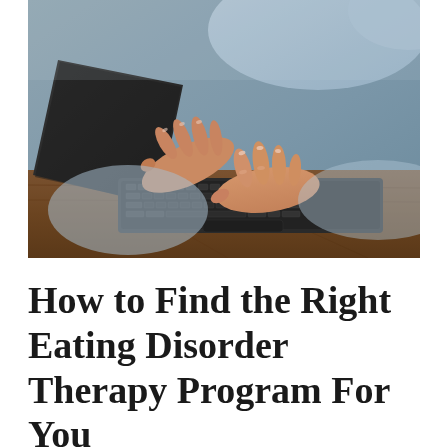[Figure (photo): Close-up photo of two hands (likely a woman's) typing on a dark laptop keyboard placed on a wooden surface. The person is wearing a light blue denim jacket. The background is blurred with grey and blue tones.]
How to Find the Right Eating Disorder Therapy Program For You